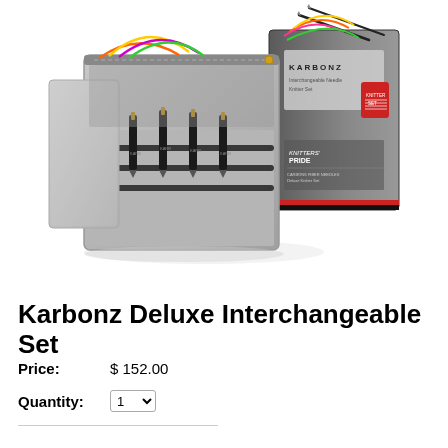[Figure (photo): Product photo showing Karbonz Deluxe Interchangeable Set: an open grey fabric case with black carbon fiber needle tips held by elastic bands, alongside the product box with needles and colorful interchangeable cables visible at top.]
Karbonz Deluxe Interchangeable Set
Price: $ 152.00
Quantity: 1